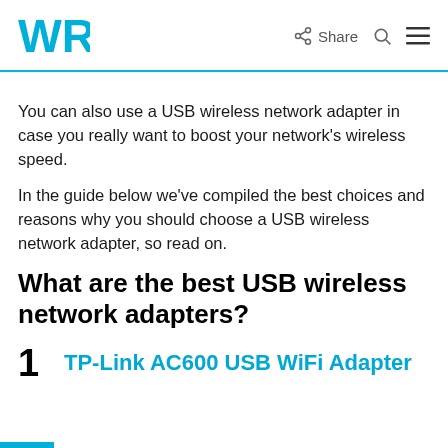WR | Share
You can also use a USB wireless network adapter in case you really want to boost your network's wireless speed.
In the guide below we've compiled the best choices and reasons why you should choose a USB wireless network adapter, so read on.
What are the best USB wireless network adapters?
1  TP-Link AC600 USB WiFi Adapter